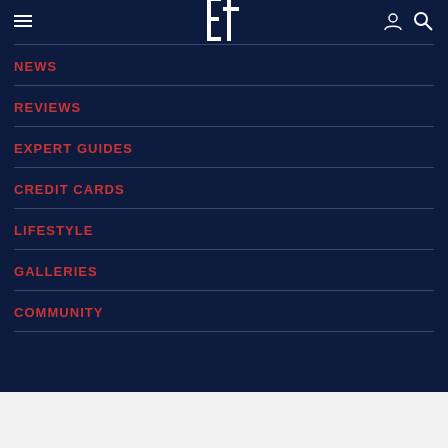Navigation header with hamburger menu, logo, user icon, search icon
NEWS
REVIEWS
EXPERT GUIDES
CREDIT CARDS
LIFESTYLE
GALLERIES
COMMUNITY